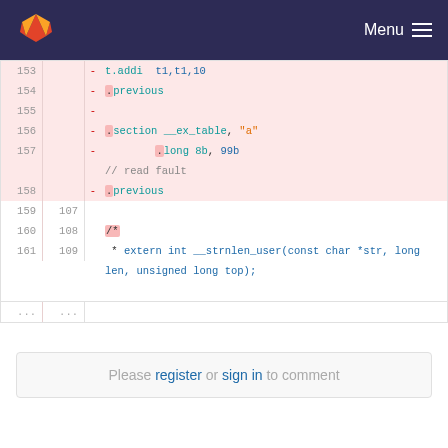GitLab Menu
[Figure (screenshot): Code diff view showing removed lines 153-158 with assembly and .previous instructions, and unchanged lines 159-161 with C extern function declaration for __strnlen_user]
Please register or sign in to comment